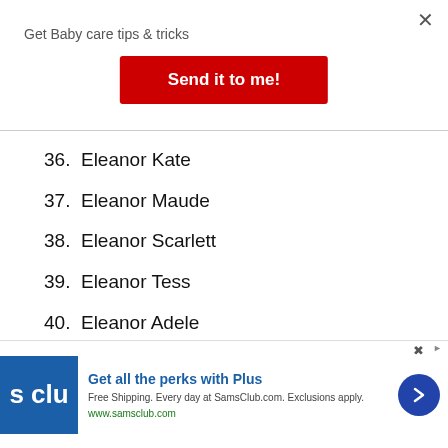Get Baby care tips & tricks
Send it to me!
36. Eleanor Kate
37. Eleanor Maude
38. Eleanor Scarlett
39. Eleanor Tess
40. Eleanor Adele
41. Eleanor Ruby
42. Eleanor Wren
[Figure (infographic): SamsClub advertisement banner: logo, 'Get all the perks with Plus', 'Free Shipping. Every day at SamsClub.com. Exclusions apply.', 'www.samsclub.com', arrow button]